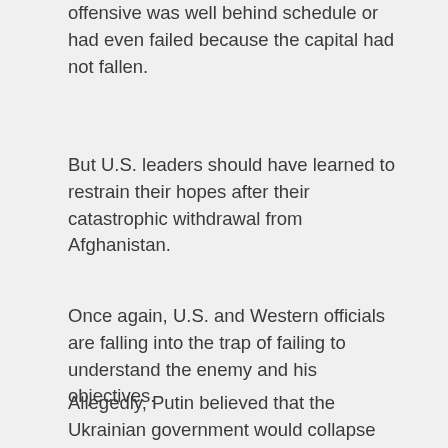offensive was well behind schedule or had even failed because the capital had not fallen.
But U.S. leaders should have learned to restrain their hopes after their catastrophic withdrawal from Afghanistan.
Once again, U.S. and Western officials are falling into the trap of failing to understand the enemy and his objectives.
Allegedly, Putin believed that the Ukrainian government would collapse once Russian troops crossed the